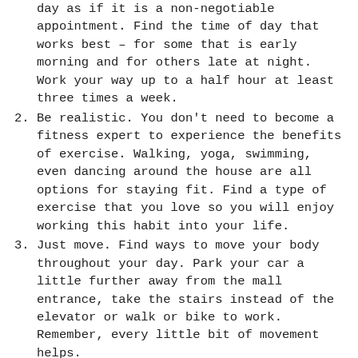day as if it is a non-negotiable appointment. Find the time of day that works best – for some that is early morning and for others late at night. Work your way up to a half hour at least three times a week.
Be realistic. You don’t need to become a fitness expert to experience the benefits of exercise. Walking, yoga, swimming, even dancing around the house are all options for staying fit. Find a type of exercise that you love so you will enjoy working this habit into your life.
Just move. Find ways to move your body throughout your day. Park your car a little further away from the mall entrance, take the stairs instead of the elevator or walk or bike to work. Remember, every little bit of movement helps.
Find something you enjoy. Often finding the right exercise is a good stress reliever, and reducing stress will also reduce risk of many chronic diseases.
It’s never too late. Exercise for the elderly can be a challenge especially during the cold winter months, when many seniors can’t get out of the house due to the weather. Even walking up and down the stairs in the house or following an exercise video can be helpful to